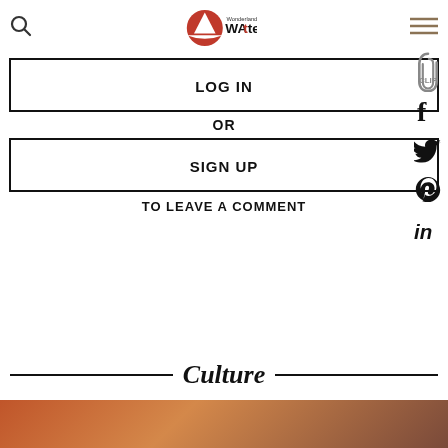Wonderland Japan WAttention
LOG IN
OR
SIGN UP
TO LEAVE A COMMENT
Culture
[Figure (photo): Partial bottom image, colorful warm tones]